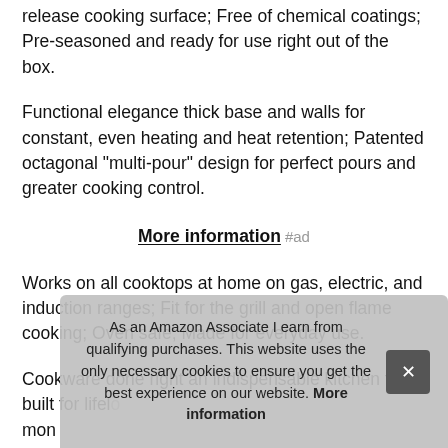release cooking surface; Free of chemical coatings; Pre-seasoned and ready for use right out of the box.
Functional elegance thick base and walls for constant, even heating and heat retention; Patented octagonal "multi-pour" design for perfect pours and greater cooking control.
More information #ad
Works on all cooktops at home on gas, electric, and induction ranges; Fit for the grill and open flame cooking; Oven safe; Made for everyday use.
Cookware done right an indispensable kitchen tool built for lifelo... more... Spe... han... the hang.
As an Amazon Associate I earn from qualifying purchases. This website uses the only necessary cookies to ensure you get the best experience on our website. More information